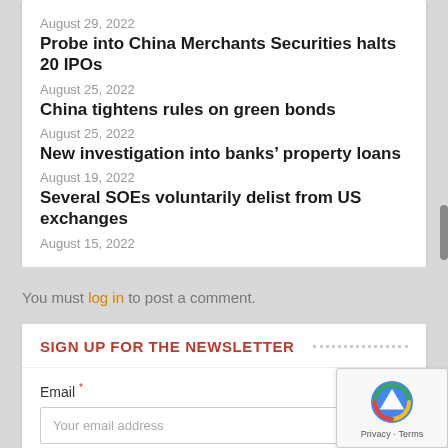August 29, 2022
Probe into China Merchants Securities halts 20 IPOs
August 25, 2022
China tightens rules on green bonds
August 25, 2022
New investigation into banks’ property loans
August 19, 2022
Several SOEs voluntarily delist from US exchanges
August 15, 2022
You must log in to post a comment.
SIGN UP FOR THE NEWSLETTER
Email *
Your email address